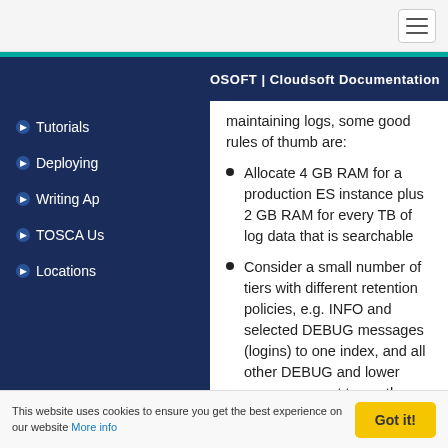OSOFT | Cloudsoft Documentation
maintaining logs, some good rules of thumb are:
Allocate 4 GB RAM for a production ES instance plus 2 GB RAM for every TB of log data that is searchable
Consider a small number of tiers with different retention policies, e.g. INFO and selected DEBUG messages (logins) to one index, and all other DEBUG and lower messages sent to another index
Getting St
Tutorials
Deploying
Writing Ap
TOSCA Us
Locations
This website uses cookies to ensure you get the best experience on our website More info | Got it!